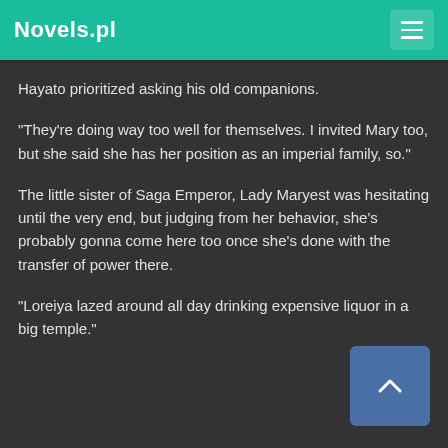Novels.pl
Hayato prioritized asking his old companions.
"They're doing way too well for themselves. I invited Mary too, but she said she has her position as an imperial family, so."
The little sister of Saga Emperor, Lady Maryest was hesitating until the very end, but judging from her behavior, she's probably gonna come here too once she's done with the transfer of power there.
"Loreiya lazed around all day drinking expensive liquor in a big temple."